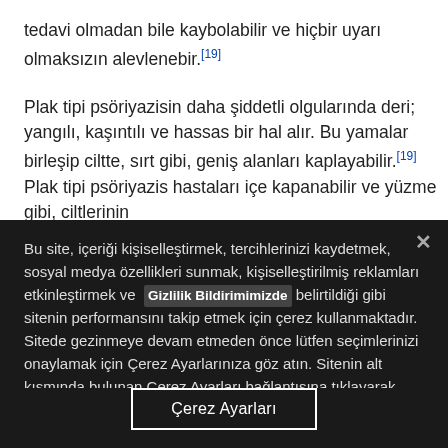tedavi olmadan bile kaybolabilir ve hiçbir uyarı olmaksızın alevlenebir.[19]
Plak tipi psöriyazisin daha şiddetli olgularında deri; yangılı, kaşıntılı ve hassas bir hal alır. Bu yamalar birleşip ciltte, sırt gibi, geniş alanları kaplayabilir.[19] Plak tipi psöriyazis hastaları içe kapanabilir ve yüzme gibi, ciltlerinin
Bu site, içeriği kişiselleştirmek, tercihlerinizi kaydetmek, sosyal medya özellikleri sunmak, kişiselleştirilmiş reklamları etkinleştirmek ve Gizlilik Bildirimimizde belirtildiği gibi sitenin performansını takip etmek için çerez kullanmaktadır. Sitede gezinmeye devam etmeden önce lütfen seçimlerinizi onaylamak için Çerez Ayarlarınıza göz atın. Sitenin alt kısmında bulunan Çerez Ayarları bağlantısına tıklayarak istediğiniz zaman değişiklik yapabilirsiniz.
Çerez Ayarları